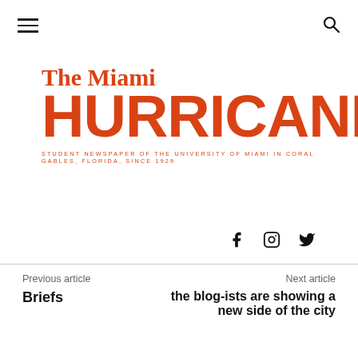[Figure (logo): The Miami Hurricane newspaper logo - hamburger menu icon top left, search icon top right, red serif The Miami above red bold HURRICANE, tagline STUDENT NEWSPAPER OF THE UNIVERSITY OF MIAMI IN CORAL GABLES, FLORIDA, SINCE 1929]
[Figure (other): Social media icons: Facebook (f), Instagram (circle), Twitter (bird)]
Previous article
Briefs
Next article
the blog-ists are showing a new side of the city